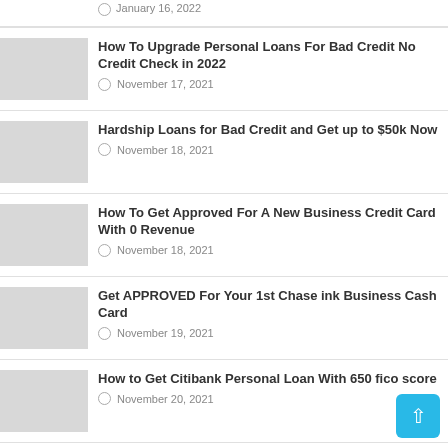January 16, 2022
How To Upgrade Personal Loans For Bad Credit No Credit Check in 2022
November 17, 2021
Hardship Loans for Bad Credit and Get up to $50k Now
November 18, 2021
How To Get Approved For A New Business Credit Card With 0 Revenue
November 18, 2021
Get APPROVED For Your 1st Chase ink Business Cash Card
November 19, 2021
How to Get Citibank Personal Loan With 650 fico score
November 20, 2021
Reddit Passive Income Ideas, Make $5000 From Copy & Paste